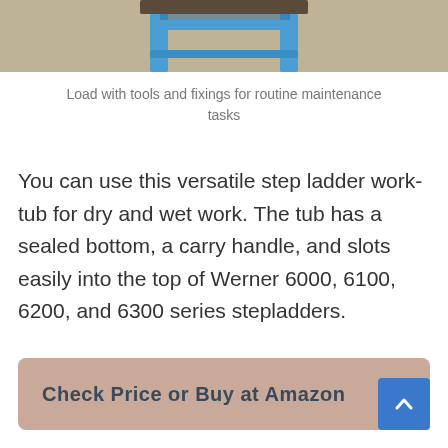[Figure (photo): Top portion of a blue step ladder photographed against a sandy/concrete background, cropped to show just the upper section]
Load with tools and fixings for routine maintenance tasks
You can use this versatile step ladder work-tub for dry and wet work. The tub has a sealed bottom, a carry handle, and slots easily into the top of Werner 6000, 6100, 6200, and 6300 series stepladders.
Check Price or Buy at Amazon